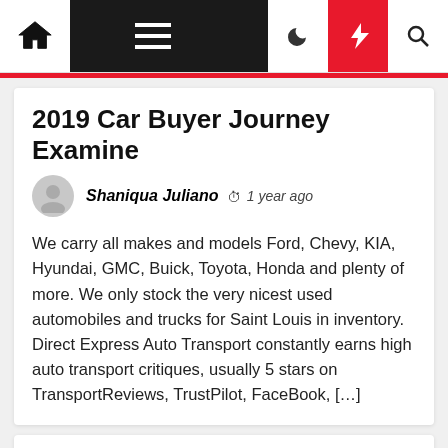Navigation bar with home, menu, moon, lightning, search icons
2019 Car Buyer Journey Examine
Shaniqua Juliano  1 year ago
We carry all makes and models Ford, Chevy, KIA, Hyundai, GMC, Buick, Toyota, Honda and plenty of more. We only stock the very nicest used automobiles and trucks for Saint Louis in inventory. Direct Express Auto Transport constantly earns high auto transport critiques, usually 5 stars on TransportReviews, TrustPilot, FaceBook, […]
The Entrepreneur's Guide To Small Business Finance